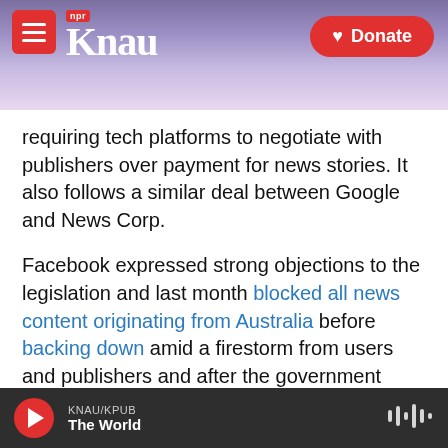KNAU NPR / Donate
requiring tech platforms to negotiate with publishers over payment for news stories. It also follows a similar deal between Google and News Corp.
Facebook expressed strong objections to the legislation and last month blocked all news content originating from Australia before backing down amid a firestorm from users and publishers and after the government made some changes to the law.
"The agreement with Facebook is a landmark in
KNAU/KPUB The World